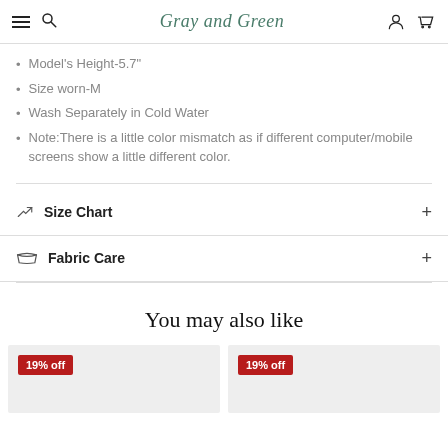Gray and Green
Model's Height-5.7"
Size worn-M
Wash Separately in Cold Water
Note:There is a little color mismatch as if different computer/mobile screens show a little different color.
Size Chart
Fabric Care
You may also like
[Figure (other): Product card with 19% off badge, light gray background]
[Figure (other): Product card with 19% off badge, light gray background]